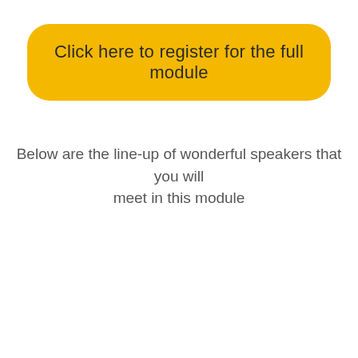[Figure (other): A large rounded yellow/amber button with the text 'Click here to register for the full module']
Below are the line-up of wonderful speakers that you will meet in this module
(partially visible footer text at bottom)